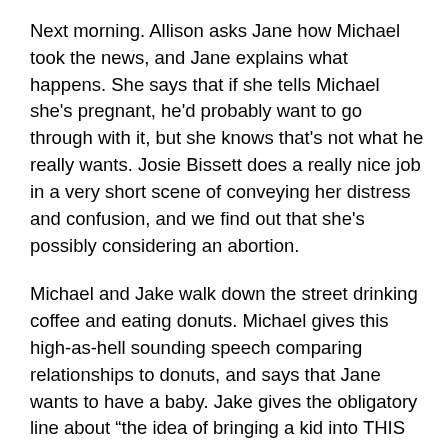Next morning. Allison asks Jane how Michael took the news, and Jane explains what happens. She says that if she tells Michael she's pregnant, he'd probably want to go through with it, but she knows that's not what he really wants. Josie Bissett does a really nice job in a very short scene of conveying her distress and confusion, and we find out that she's possibly considering an abortion.
Michael and Jake walk down the street drinking coffee and eating donuts. Michael gives this high-as-hell sounding speech comparing relationships to donuts, and says that Jane wants to have a baby. Jake gives the obligatory line about “the idea of bringing a kid into THIS world,” and Michael says that there are a few intern dads, and none of them have happy marriages. Just as I think maybe I can like Michael a little bit here, he starts yammering on about